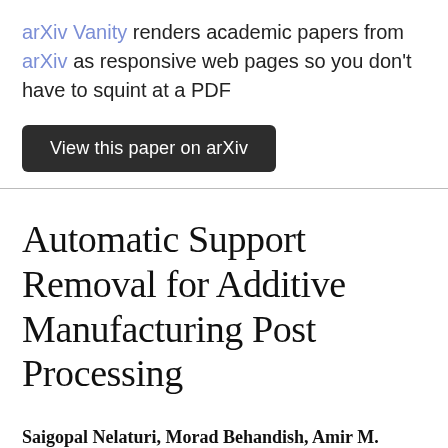arXiv Vanity renders academic papers from arXiv as responsive web pages so you don't have to squint at a PDF
View this paper on arXiv
Automatic Support Removal for Additive Manufacturing Post Processing
Saigopal Nelaturi, Morad Behandish, Amir M. Mirzendehdel, and Johan de Kleer